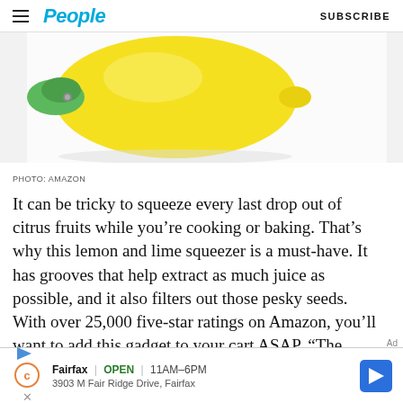People | SUBSCRIBE
[Figure (photo): Partial view of a yellow lemon/lime squeezer with green accents on a white/light gray background]
PHOTO: AMAZON
It can be tricky to squeeze every last drop out of citrus fruits while you’re cooking or baking. That’s why this lemon and lime squeezer is a must-have. It has grooves that help extract as much juice as possible, and it also filters out those pesky seeds. With over 25,000 five-star ratings on Amazon, you’ll want to add this gadget to your cart ASAP. “The Zulay juicer does an outstanding job with minimal
[Figure (screenshot): Advertisement banner: Fairfax OPEN 11AM-6PM, 3903 M Fair Ridge Drive, Fairfax with navigation arrow icon]